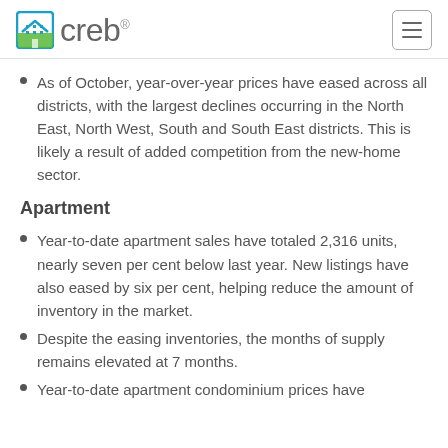creb®
As of October, year-over-year prices have eased across all districts, with the largest declines occurring in the North East, North West, South and South East districts. This is likely a result of added competition from the new-home sector.
Apartment
Year-to-date apartment sales have totaled 2,316 units, nearly seven per cent below last year. New listings have also eased by six per cent, helping reduce the amount of inventory in the market.
Despite the easing inventories, the months of supply remains elevated at 7 months.
Year-to-date apartment condominium prices have